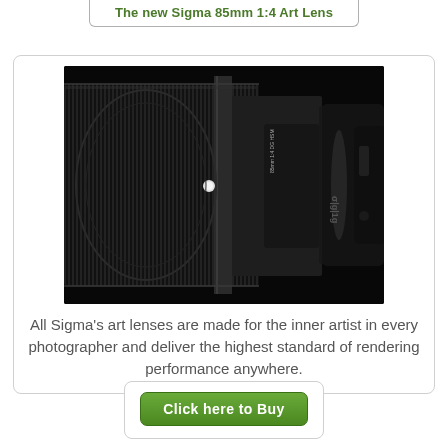The new Sigma 85mm 1:4 Art Lens
[Figure (photo): Close-up photograph of a Sigma 85mm f/1.4 Art Lens mounted on a DSLR camera body, set against a dark/black background. The lens occupies most of the frame, showing ridged focus ring and aperture markings.]
All Sigma's art lenses are made for the inner artist in every photographer and deliver the highest standard of rendering performance anywhere.
Click here to Buy